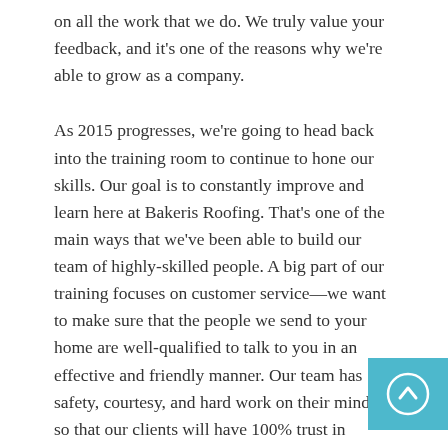on all the work that we do. We truly value your feedback, and it's one of the reasons why we're able to grow as a company.
As 2015 progresses, we're going to head back into the training room to continue to hone our skills. Our goal is to constantly improve and learn here at Bakeris Roofing. That's one of the main ways that we've been able to build our team of highly-skilled people. A big part of our training focuses on customer service—we want to make sure that the people we send to your home are well-qualified to talk to you in an effective and friendly manner. Our team has safety, courtesy, and hard work on their minds so that our clients will have 100% trust in Bakeris Roofing.
Our real-world training also consists of ongoing pract of our roofing skills to ensure that we do the best job